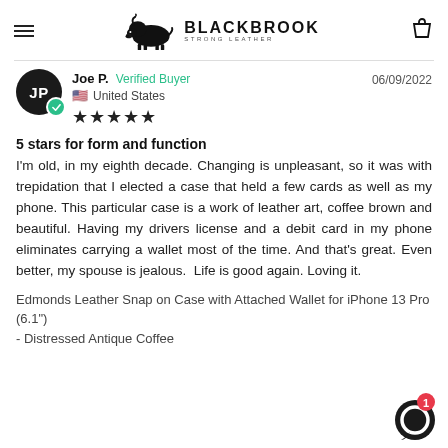Blackbrook Strong Leather — navigation header with hamburger menu, logo, and cart icon
Joe P.  Verified Buyer  06/09/2022  United States  ★★★★★
5 stars for form and function
I'm old, in my eighth decade. Changing is unpleasant, so it was with trepidation that I elected a case that held a few cards as well as my phone. This particular case is a work of leather art, coffee brown and beautiful. Having my drivers license and a debit card in my phone eliminates carrying a wallet most of the time. And that's great. Even better, my spouse is jealous.  Life is good again. Loving it.
Edmonds Leather Snap on Case with Attached Wallet for iPhone 13 Pro (6.1")
- Distressed Antique Coffee